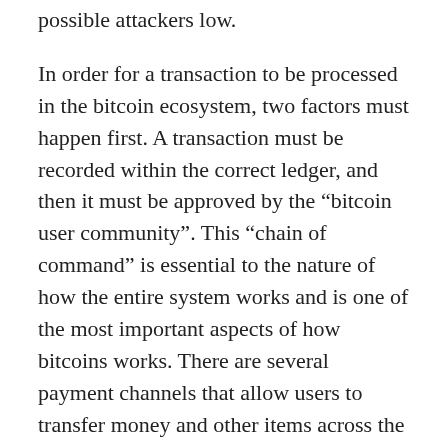possible attackers low.
In order for a transaction to be processed in the bitcoin ecosystem, two factors must happen first. A transaction must be recorded within the correct ledger, and then it must be approved by the “bitcoin user community”. This “chain of command” is essential to the nature of how the entire system works and is one of the most important aspects of how bitcoins works. There are several payment channels that allow users to transfer money and other items across the entire network without the need for a traditional financial institution.
If you want to start transferring money now, or just to see how the entire system works from the ground up, you should start by sending a transaction through the